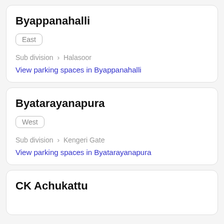Byappanahalli
East
Sub division > Halasoor
View parking spaces in Byappanahalli
Byatarayanapura
West
Sub division > Kengeri Gate
View parking spaces in Byatarayanapura
CK Achukattu